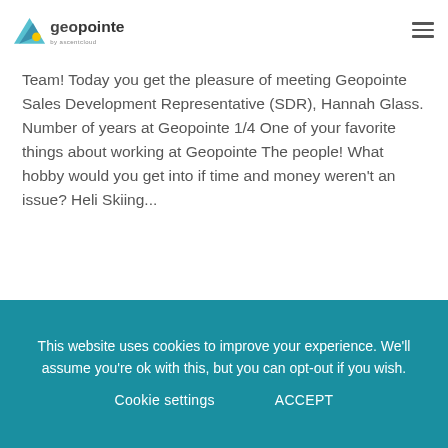[Figure (logo): Geopointe by Ascent Cloud logo with triangular teal/blue mark and bold text]
Team! Today you get the pleasure of meeting Geopointe Sales Development Representative (SDR), Hannah Glass. Number of years at Geopointe 1/4 One of your favorite things about working at Geopointe The people! What hobby would you get into if time and money weren't an issue? Heli Skiing...
Read More
This website uses cookies to improve your experience. We'll assume you're ok with this, but you can opt-out if you wish.
Cookie settings
ACCEPT